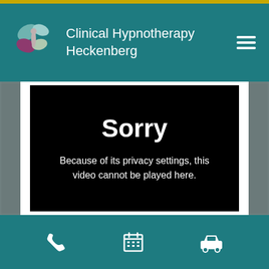Clinical Hypnotherapy Heckenberg
[Figure (screenshot): Embedded video player showing error message: Sorry. Because of its privacy settings, this video cannot be played here.]
Navigation icons: phone, calendar, car